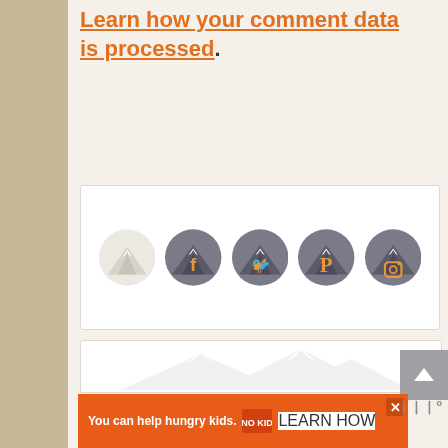Learn how your comment data is processed.
[Figure (illustration): Social media icon bar with mountain-themed circular icons: a faded mountain icon, then colored circles with Facebook, Twitter, Pinterest, and Instagram icons overlaid on mountain imagery]
[Figure (illustration): Large white content area with faint mountain watermark illustration]
[Figure (infographic): Orange advertisement banner reading 'You can help hungry kids.' with No Kid Hungry logo and LEARN HOW button, plus close X button]